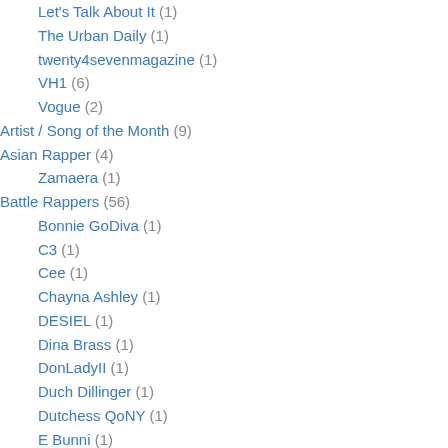Let's Talk About It (1)
The Urban Daily (1)
twenty4sevenmagazine (1)
VH1 (6)
Vogue (2)
Artist / Song of the Month (9)
Asian Rapper (4)
Zamaera (1)
Battle Rappers (56)
Bonnie GoDiva (1)
C3 (1)
Cee (1)
Chayna Ashley (1)
DESIEL (1)
Dina Brass (1)
DonLadyII (1)
Duch Dillinger (1)
Dutchess QoNY (1)
E Bunni (1)
E Hart (1)